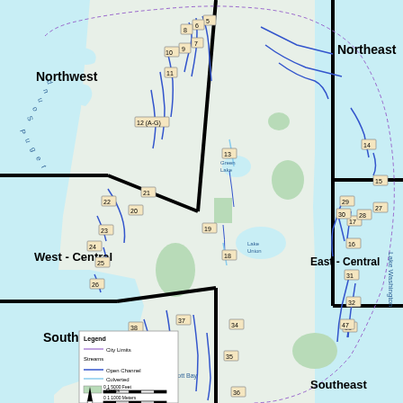[Figure (map): Map of Seattle divided into districts (Northwest, Northeast, West-Central, East-Central, Southwest, Southeast) showing streams (open channel and culverted), city limits, and parks. Numbered stream/watershed locations are marked with labeled boxes throughout the map. Major water bodies visible include Puget Sound on the west, Lake Washington on the east, Green Lake in the north-central area, Lake Union in the center, and Elliott Bay to the southwest. Black bold lines divide the map into regional sectors. District labels: Northwest (top-left), Northeast (top-right), West-Central (middle-left), East-Central (middle-right), Southwest (bottom-left), Southeast (bottom-right). Numbered locations include: 5, 6, 8 (northwest cluster), 7, 9, 10, 11 (northwest cluster), 12(A-G) (northwest), 13 (north-central), 14, 15, 17, 16 (northeast/east), 21, 22, 20, 23, 24, 25, 26 (west-central), 18, 19 (central), 27, 28, 29, 30 (east-central), 31, 32, 33 (east-central lower), 37, 38, 34, 35, 36 (southwest/south-central), 39, 40 (southwest lower), 47 (southeast). Legend shows: City Limits (purple line), Streams - Open Channel (dark blue line), Culverted (light blue line), Parks (green fill). North arrow and scale bars in feet and meters shown in lower-left.]